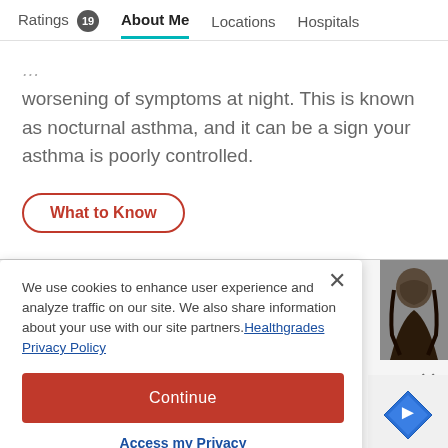Ratings 19   About Me   Locations   Hospitals
worsening of symptoms at night. This is known as nocturnal asthma, and it can be a sign your asthma is poorly controlled.
What to Know
We use cookies to enhance user experience and analyze traffic on our site. We also share information about your use with our site partners. Healthgrades Privacy Policy
Continue
Access my Privacy Preferences